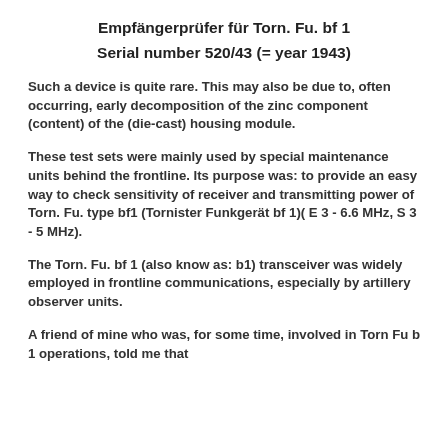Empfängerprüfer für Torn. Fu. bf 1
Serial number 520/43 (= year 1943)
Such a device is quite rare. This may also be due to, often occurring, early decomposition of the zinc component (content) of the (die-cast) housing module.
These test sets were mainly used by special maintenance units behind the frontline. Its purpose was: to provide an easy way to check sensitivity of receiver and transmitting power of Torn. Fu. type bf1 (Tornister Funkgerät bf 1)( E 3 - 6.6 MHz, S 3 - 5 MHz).
The Torn. Fu. bf 1 (also know as: b1) transceiver was widely employed in frontline communications, especially by artillery observer units.
A friend of mine who was, for some time, involved in Torn Fu b 1 operations, told me that